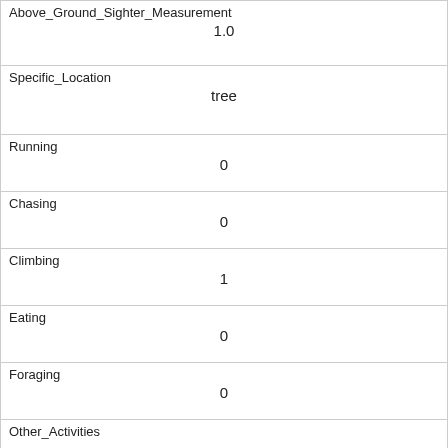| Above_Ground_Sighter_Measurement | 1.0 |
| Specific_Location | tree |
| Running | 0 |
| Chasing | 0 |
| Climbing | 1 |
| Eating | 0 |
| Foraging | 0 |
| Other_Activities |  |
| Kuks | 1 |
| Quaas | 0 |
| Moans |  |